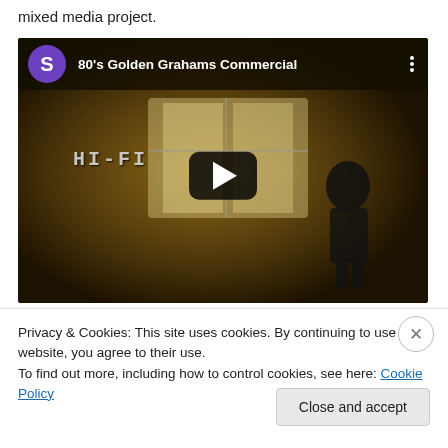mixed media project.
[Figure (screenshot): Screenshot of a YouTube video embed titled '80's Golden Grahams Commercial'. Shows a purple avatar with letter S, video title in white text, a three-dot menu icon, and a video thumbnail with a dark yellowish/brown scene showing a silhouette of a person and text 'HI-FI' on screen, with a large play button in the center.]
Privacy & Cookies: This site uses cookies. By continuing to use this website, you agree to their use.
To find out more, including how to control cookies, see here: Cookie Policy
Close and accept